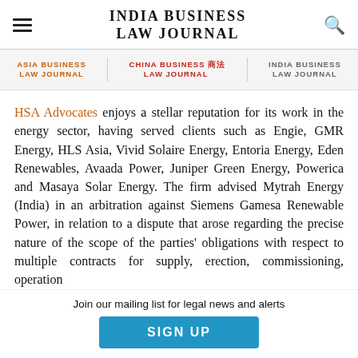INDIA BUSINESS LAW JOURNAL
[Figure (logo): Navigation bar with hamburger menu, India Business Law Journal title, and search icon]
[Figure (logo): Sub-navigation bar showing Asia Business Law Journal, China Business Law Journal, and India Business Law Journal logos]
HSA Advocates enjoys a stellar reputation for its work in the energy sector, having served clients such as Engie, GMR Energy, HLS Asia, Vivid Solaire Energy, Entoria Energy, Eden Renewables, Avaada Power, Juniper Green Energy, Powerica and Masaya Solar Energy. The firm advised Mytrah Energy (India) in an arbitration against Siemens Gamesa Renewable Power, in relation to a dispute that arose regarding the precise nature of the scope of the parties' obligations with respect to multiple contracts for supply, erection, commissioning, operation
Join our mailing list for legal news and alerts
SIGN UP